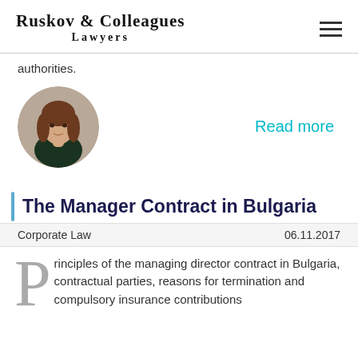Ruskov & Colleagues Lawyers
authorities.
[Figure (photo): Portrait photo of a woman with brown hair, oval-cropped]
Read more
The Manager Contract in Bulgaria
Corporate Law    06.11.2017
Principles of the managing director contract in Bulgaria, contractual parties, reasons for termination and compulsory insurance contributions